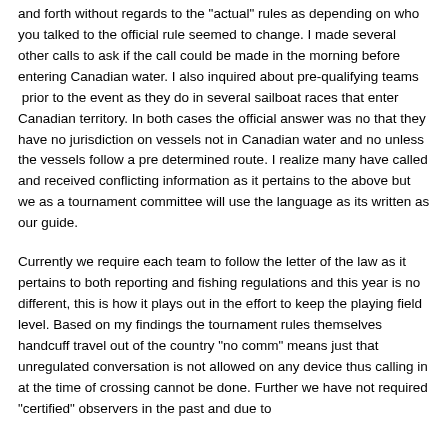and forth without regards to the "actual" rules as depending on who you talked to the official rule seemed to change. I made several other calls to ask if the call could be made in the morning before entering Canadian water. I also inquired about pre-qualifying teams  prior to the event as they do in several sailboat races that enter Canadian territory. In both cases the official answer was no that they have no jurisdiction on vessels not in Canadian water and no unless the vessels follow a pre determined route. I realize many have called and received conflicting information as it pertains to the above but we as a tournament committee will use the language as its written as our guide.
Currently we require each team to follow the letter of the law as it pertains to both reporting and fishing regulations and this year is no different, this is how it plays out in the effort to keep the playing field level. Based on my findings the tournament rules themselves handcuff travel out of the country "no comm" means just that unregulated conversation is not allowed on any device thus calling in at the time of crossing cannot be done. Further we have not required "certified" observers in the past and due to